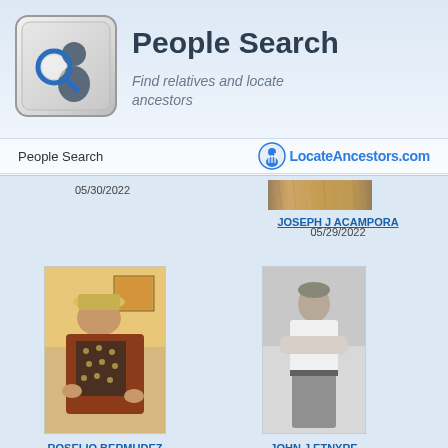[Figure (logo): Keyboard key icon with magnifying glass and person silhouette - People Search logo]
People Search
Find relatives and locate ancestors
People Search   LocateAncestors.com
[Figure (photo): Small thumbnail photo of JOSEPH J ACAMPORA - appears to be a document or image scan]
05/30/2022
JOSEPH J ACAMPORA
05/29/2022
[Figure (photo): Color photo of ROSELIO BERMUDEZ - person wearing hat and patterned jacket]
ROSELIO BERMUDEZ
05/24/2022
[Figure (photo): Black and white photo of JOHN J ETNYRE - man standing with arms crossed]
JOHN J ETNYRE
05/10/2022
[Figure (photo): Partial photo visible at bottom left - appears to be a document screenshot with person]
[Figure (photo): Sepia/vintage portrait photo of person at bottom right, partially visible]